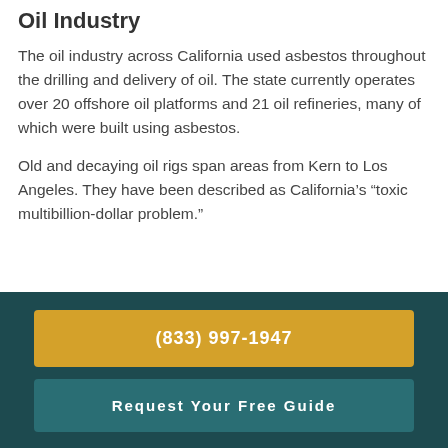Oil Industry
The oil industry across California used asbestos throughout the drilling and delivery of oil. The state currently operates over 20 offshore oil platforms and 21 oil refineries, many of which were built using asbestos.
Old and decaying oil rigs span areas from Kern to Los Angeles. They have been described as California’s “toxic multibillion-dollar problem.”
[Figure (illustration): Illustration of an oil rig or industrial equipment emitting a cloud of smoke or toxic fumes, drawn in a simple black outline style.]
(833) 997-1947
Request Your Free Guide